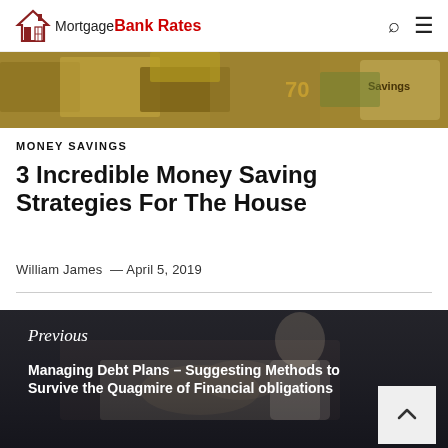Mortgage Bank Rates
[Figure (photo): Hero image showing money/savings jars with cash and bills, with the word 'Savings' visible]
MONEY SAVINGS
3 Incredible Money Saving Strategies For The House
William James  —  April 5, 2019
[Figure (photo): Previous article navigation image showing a person writing/signing documents at a desk, dark toned photo]
Previous
Managing Debt Plans – Suggesting Methods to Survive the Quagmire of Financial obligations